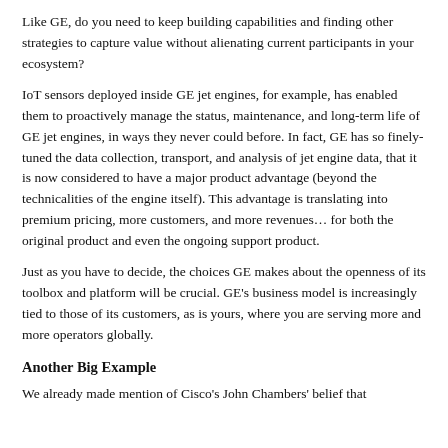Like GE, do you need to keep building capabilities and finding other strategies to capture value without alienating current participants in your ecosystem?
IoT sensors deployed inside GE jet engines, for example, has enabled them to proactively manage the status, maintenance, and long-term life of GE jet engines, in ways they never could before. In fact, GE has so finely-tuned the data collection, transport, and analysis of jet engine data, that it is now considered to have a major product advantage (beyond the technicalities of the engine itself). This advantage is translating into premium pricing, more customers, and more revenues… for both the original product and even the ongoing support product.
Just as you have to decide, the choices GE makes about the openness of its toolbox and platform will be crucial. GE's business model is increasingly tied to those of its customers, as is yours, where you are serving more and more operators globally.
Another Big Example
We already made mention of Cisco's John Chambers' belief that